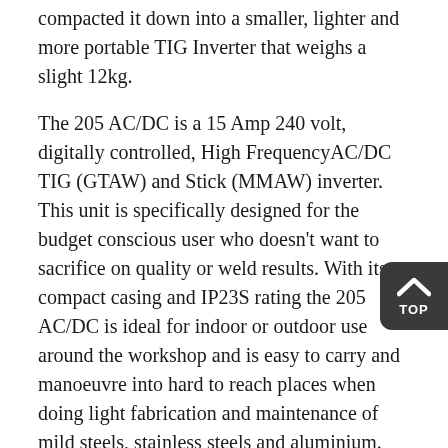compacted it down into a smaller, lighter and more portable TIG Inverter that weighs a slight 12kg.
The 205 AC/DC is a 15 Amp 240 volt, digitally controlled, High Frequency AC/DC TIG (GTAW) and Stick (MMAW) inverter. This unit is specifically designed for the budget conscious user who doesn't want to sacrifice on quality or weld results. With its compact casing and IP23S rating the 205 AC/DC is ideal for indoor or outdoor use around the workshop and is easy to carry and manoeuvre into hard to reach places when doing light fabrication and maintenance of mild steels, stainless steels and aluminium.
In TIG mode the unit has all the features required to customise your welding preferences – High Frequency (HF), Up/Down Slope, Pre/Post Flow, 2T/4T Trigger Function, Spot Mode and Gas Purge for AC or DC TIG welding. When welding in AC only, Frequency and Wave Balance can be refined with impressive adjustability and when operating in Pulse Mode the user has full flexibility